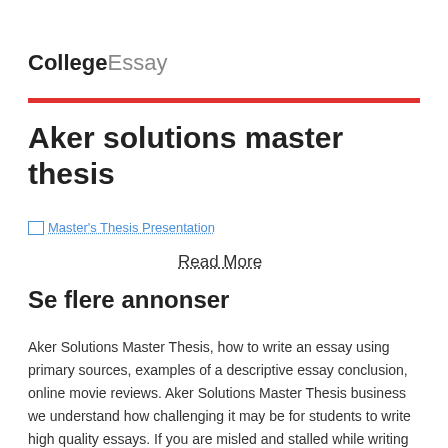CollegeEssay
Aker solutions master thesis
[Figure (other): Broken image placeholder with alt text 'Master's Thesis Presentation' shown as a linked image with dotted underline]
Read More
Se flere annonser
Aker Solutions Master Thesis, how to write an essay using primary sources, examples of a descriptive essay conclusion, online movie reviews. Aker Solutions Master Thesis business we understand how challenging it may be for students to write high quality essays. If you are misled and stalled while writing your essay, our professional college essay writers can help you out